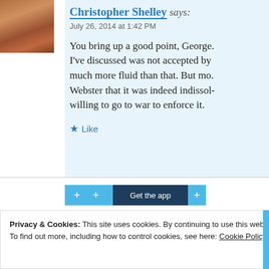[Figure (photo): User avatar photo of a person, partially visible on left side of comment]
Christopher Shelley says:
July 26, 2014 at 1:42 PM
You bring up a good point, George. I've discussed was not accepted by much more fluid than that. But mo. Webster that it was indeed indissol... willing to go to war to enforce it.
★ Like
+ + Get the app +
Privacy & Cookies: This site uses cookies. By continuing to use this website, you agree to their use.
To find out more, including how to control cookies, see here: Cookie Policy
Close and accept